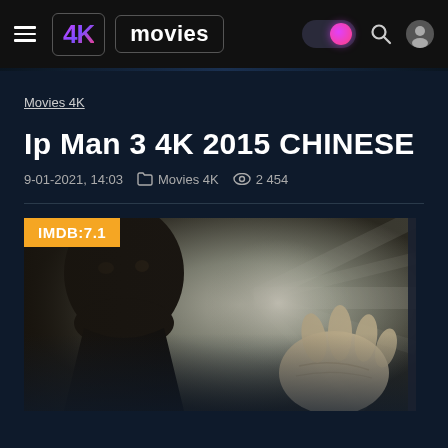4K movies
Movies 4K
Ip Man 3 4K 2015 CHINESE
9-01-2021, 14:03  Movies 4K  2 454
[Figure (photo): Movie poster for Ip Man 3 showing a man in martial arts stance with dramatic lighting and an outstretched hand, with IMDB:7.1 badge overlay]